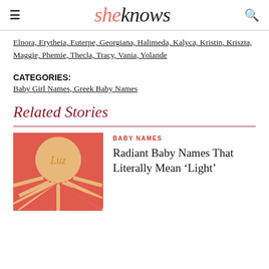sheknows
Elnora, Erytheia, Euterpe, Georgiana, Halimeda, Kalyca, Kristin, Kriszta, Maggie, Phemie, Thecla, Tracy, Vania, Yolande
CATEGORIES: Baby Girl Names, Greek Baby Names
Related Stories
BABY NAMES
Radiant Baby Names That Literally Mean 'Light'